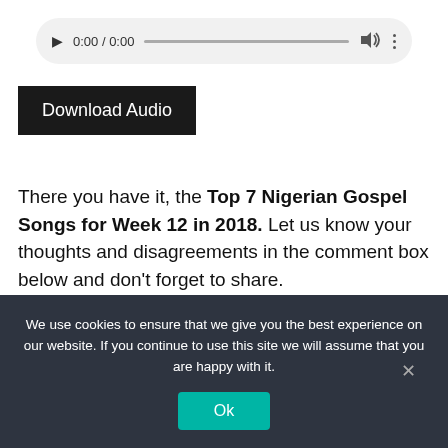[Figure (screenshot): Audio player widget with play button, time display '0:00 / 0:00', progress bar, volume icon, and more options icon on a light grey rounded background]
Download Audio
There you have it, the Top 7 Nigerian Gospel Songs for Week 12 in 2018. Let us know your thoughts and disagreements in the comment box below and don't forget to share.
Blessings!
We use cookies to ensure that we give you the best experience on our website. If you continue to use this site we will assume that you are happy with it.